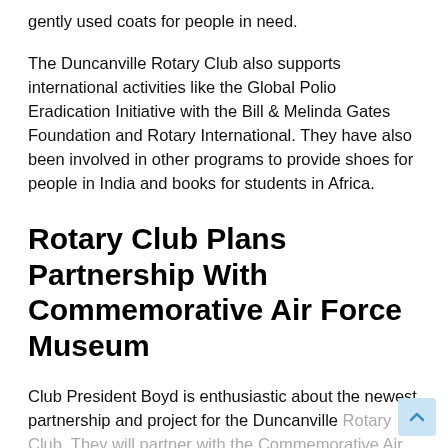gently used coats for people in need.
The Duncanville Rotary Club also supports international activities like the Global Polio Eradication Initiative with the Bill & Melinda Gates Foundation and Rotary International. They have also been involved in other programs to provide shoes for people in India and books for students in Africa.
Rotary Club Plans Partnership With Commemorative Air Force Museum
Club President Boyd is enthusiastic about the newest partnership and project for the Duncanville Rotary Club. They will partner with the Commemorative Air Force for an air show at Dalla